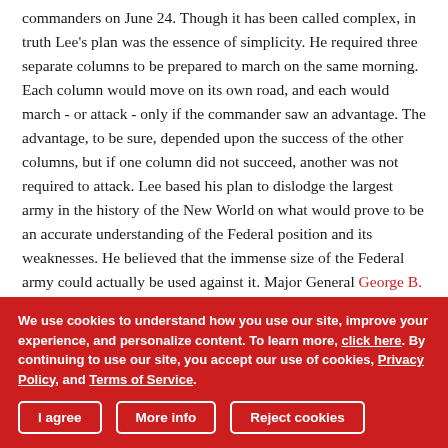commanders on June 24. Though it has been called complex, in truth Lee's plan was the essence of simplicity. He required three separate columns to be prepared to march on the same morning. Each column would move on its own road, and each would march - or attack - only if the commander saw an advantage. The advantage, to be sure, depended upon the success of the other columns, but if one column did not succeed, another was not required to attack. Lee based his plan to dislodge the largest army in the history of the New World on what would prove to be an accurate understanding of the Federal position and its weaknesses. He believed that the immense size of the Federal army could actually be used against it. Major General George B. McClellan's army required more than 600 tons of food and supplies each day.
We use cookies to understand how you use our site, improve your experience, and personalize content. To learn more, click here. By continuing to use our site, you accept our use of cookies, Privacy Policy, and Terms of Service.